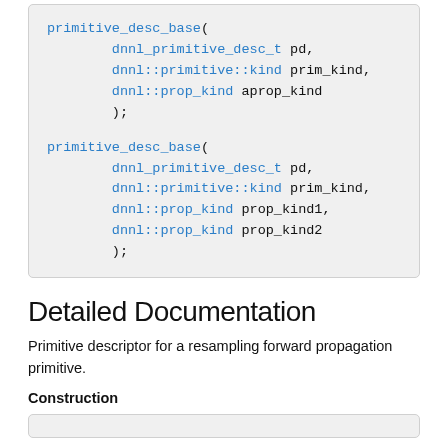[Figure (other): Code block showing two overloads of primitive_desc_base function with parameters dnnl_primitive_desc_t, dnnl::primitive::kind, dnnl::prop_kind]
Detailed Documentation
Primitive descriptor for a resampling forward propagation primitive.
Construction